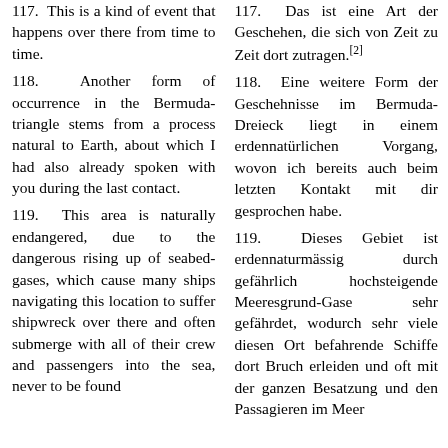117. This is a kind of event that happens over there from time to time.
118. Another form of occurrence in the Bermuda-triangle stems from a process natural to Earth, about which I had also already spoken with you during the last contact.
119. This area is naturally endangered, due to the dangerous rising up of seabed-gases, which cause many ships navigating this location to suffer shipwreck over there and often submerge with all of their crew and passengers into the sea, never to be found
117. Das ist eine Art der Geschehen, die sich von Zeit zu Zeit dort zutragen.[2]
118. Eine weitere Form der Geschehnisse im Bermuda-Dreieck liegt in einem erdennatürlichen Vorgang, wovon ich bereits auch beim letzten Kontakt mit dir gesprochen habe.
119. Dieses Gebiet ist erdennaturmässig durch gefährlich hochsteigende Meeresgrund-Gase sehr gefährdet, wodurch sehr viele diesen Ort befahrende Schiffe dort Bruch erleiden und oft mit der ganzen Besatzung und den Passagieren im Meer